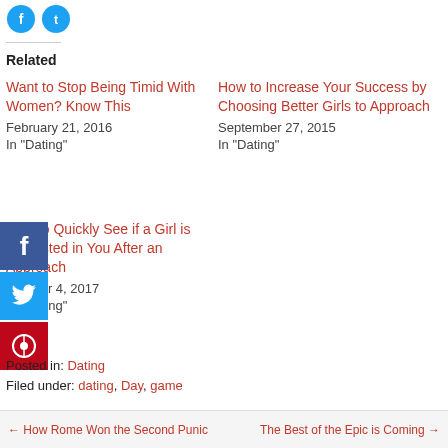[Figure (other): Social share icons: Facebook (blue circle) and Twitter (blue circle) at top left]
Related
Want to Stop Being Timid With Women? Know This
February 21, 2016
In "Dating"
How to Increase Your Success by Choosing Better Girls to Approach
September 27, 2015
In "Dating"
How to Quickly See if a Girl is Interested in You After an Approach
October 4, 2017
In "Dating"
[Figure (other): Facebook share button sidebar (dark blue)]
[Figure (other): Twitter share button sidebar (light blue)]
[Figure (other): Pinterest share button sidebar (dark red)]
Posted in: Dating
Filed under: dating, Day, game
← How Rome Won the Second Punic     The Best of the Epic is Coming →